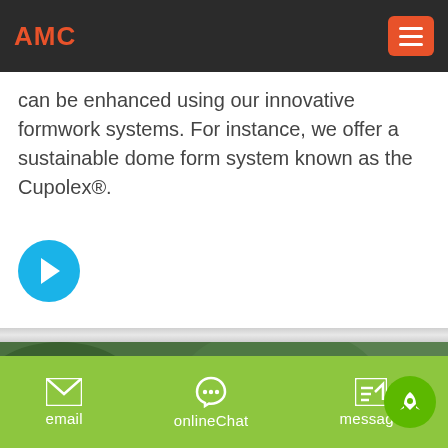AMC
can be enhanced using our innovative formwork systems. For instance, we offer a sustainable dome form system known as the Cupolex®.
[Figure (illustration): Cyan circle with right-pointing arrow icon (navigation button)]
[Figure (photo): Aerial or ground-level photo of industrial mining/crushing machinery and equipment set against a hillside with green vegetation in the background.]
email   onlineChat   message